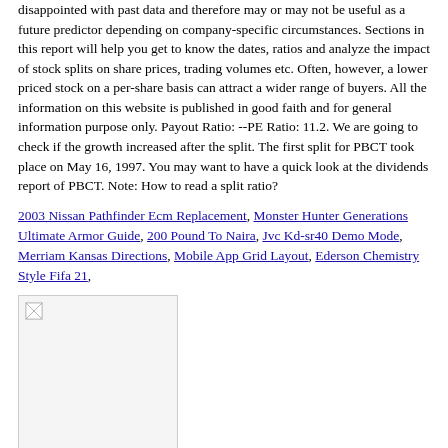disappointed with past data and therefore may or may not be useful as a future predictor depending on company-specific circumstances. Sections in this report will help you get to know the dates, ratios and analyze the impact of stock splits on share prices, trading volumes etc. Often, however, a lower priced stock on a per-share basis can attract a wider range of buyers. All the information on this website is published in good faith and for general information purpose only. Payout Ratio: --PE Ratio: 11.2. We are going to check if the growth increased after the split. The first split for PBCT took place on May 16, 1997. You may want to have a quick look at the dividends report of PBCT. Note: How to read a split ratio?
2003 Nissan Pathfinder Ecm Replacement, Monster Hunter Generations Ultimate Armor Guide, 200 Pound To Naira, Jvc Kd-sr40 Demo Mode, Merriam Kansas Directions, Mobile App Grid Layout, Ederson Chemistry Style Fifa 21,
[Figure (photo): A small broken/placeholder image icon in the top-left corner of a rectangular image box]